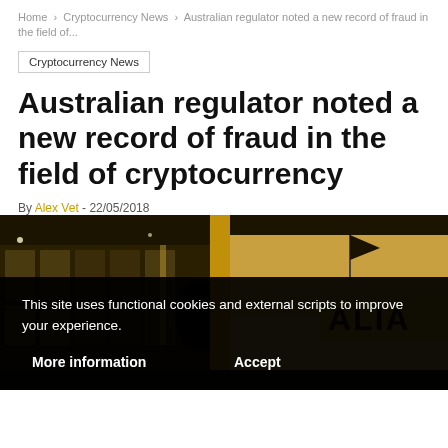Home > Cryptocurrency News > Australian regulator noted a new record of fraud in the field of...
Cryptocurrency News
Australian regulator noted a new record of fraud in the field of cryptocurrency
By Alex Vet - 22/05/2018
[Figure (photo): Sepia-toned exterior photograph of a building with partial signage reading 'ALIA', featuring a flag and glass facade]
This site uses functional cookies and external scripts to improve your experience.

More information    Accept